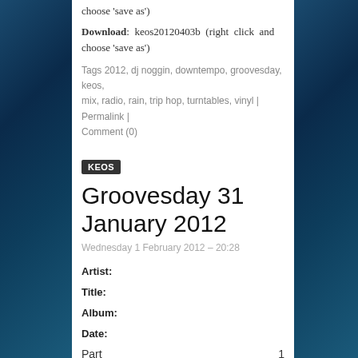choose 'save as')
Download: keos20120403b (right click and choose 'save as')
Tags 2012, dj noggin, downtempo, groovesday, keos, mix, radio, rain, trip hop, turntables, vinyl | Permalink | Comment (0)
KEOS
Groovesday 31 January 2012
Wednesday 1 February 2012 – 20:28
Artist:
Title:
Album:
Date:
Part  1
0:00 / 57:46